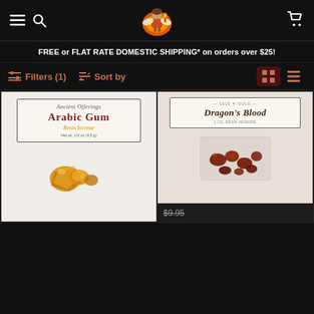Navigation bar with hamburger menu, search icon, logo, and cart icon
FREE or FLAT RATE DOMESTIC SHIPPING* on orders over $25!
Filters (1)  Sort by  [grid view] [list view]
[Figure (photo): Product photo: Ancient Offerings Arabic Gum Resin Incense bag with yellow/amber resin chunks]
[Figure (photo): Product photo: 1618 Gold Dragon's Blood 1oz Resin Incense bag with red/brown resin pieces. Price shown as $9.95 (strikethrough)]
$9.95